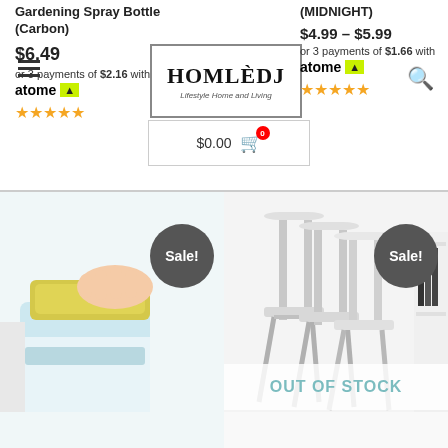Gardening Spray Bottle (Carbon)
[Figure (logo): HOMLÈDJ Lifestyle Home and Living logo in a rectangular border]
(MIDNIGHT)
$6.49
or 3 payments of $2.16 with atome
$4.99 – $5.99
or 3 payments of $1.66 with atome
$0.00 (cart)
[Figure (photo): Hand pressing on a blue and white soap dispenser with sponge on top, Sale! badge overlay]
[Figure (photo): White folding chairs stacked, Sale! badge and OUT OF STOCK overlay]